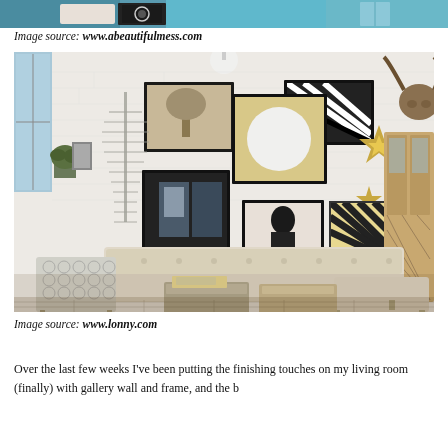[Figure (photo): Partial view of a colorful room with teal/blue pillows and decorative items, cropped at top of page]
Image source: www.abeautifulmess.com
[Figure (photo): Interior design photo of a modern living room with white brick wall, gallery wall of framed art, cream sectional sofa, patterned armchair, wooden coffee table and cabinet, animal head mount]
Image source: www.lonny.com
Over the last few weeks I've been putting the finishing touches on my living room (finally) with gallery wall and frame, and the b...